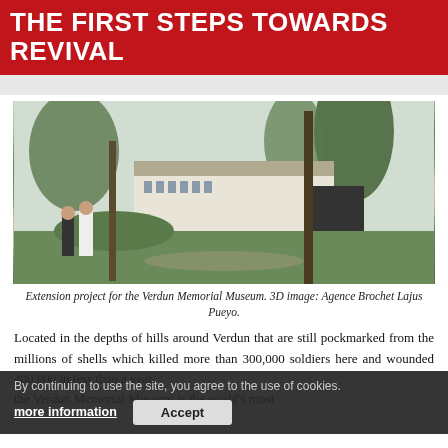THE FIRST STEPS TOWARDS REVIVAL
[Figure (photo): Architectural rendering of the extension project for the Verdun Memorial Museum, showing a modern building complex surrounded by trees and landscaped grounds. Two figures stand in the foreground.]
Extension project for the Verdun Memorial Museum. 3D image: Agence Brochet Lajus Pueyo.
Located in the depths of hills around Verdun that are still pockmarked from the millions of shells which killed more than 300,000 soldiers here and wounded 400,000 in less than a year, the Verdun Memorial Museum is the world's most famous...
By continuing to use the site, you agree to the use of cookies. more information   Accept
It is one of Europe's